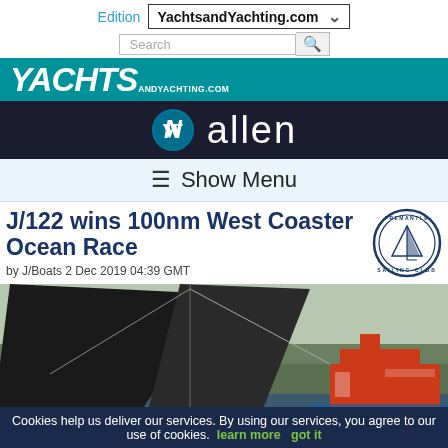Edition YachtsandYachting.com
[Figure (logo): YachtsandYachting.com site logo on teal background]
[Figure (logo): Allen brand banner with circular logo and 'allen' text on dark navy background]
≡ Show Menu
J/122 wins 100nm West Coaster Ocean Race
by J/Boats 2 Dec 2019 04:39 GMT
[Figure (logo): Fremantle Sailing Club circular logo]
[Figure (photo): Racing yacht with large dark sails and red vessel in background at port]
Cookies help us deliver our services. By using our services, you agree to our use of cookies. learn more  got it